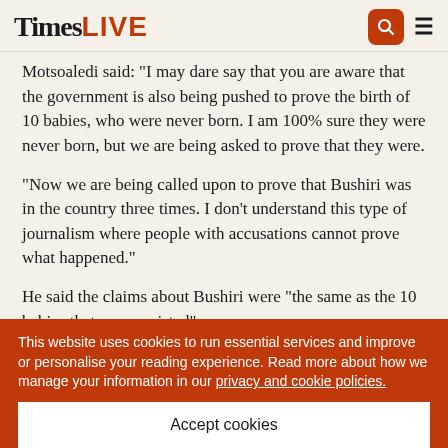Times LIVE
Motsoaledi said: "I may dare say that you are aware that the government is also being pushed to prove the birth of 10 babies, who were never born. I am 100% sure they were never born, but we are being asked to prove that they were.
“Now we are being called upon to prove that Bushiri was in the country three times. I don’t understand this type of journalism where people with accusations cannot prove what happened.”
He said the claims about Bushiri were “the same as the 10 babies that never existed”.
This website uses cookies to run essential services and improve or personalise your reading experience. Read more about how we manage your information in our privacy and cookie policies.
Accept cookies